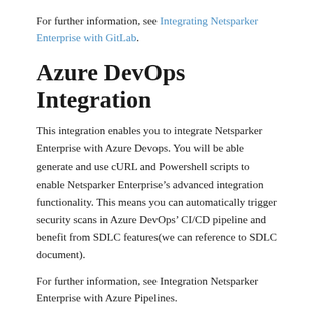For further information, see Integrating Netsparker Enterprise with GitLab.
Azure DevOps Integration
This integration enables you to integrate Netsparker Enterprise with Azure Devops. You will be able generate and use cURL and Powershell scripts to enable Netsparker Enterprise’s advanced integration functionality. This means you can automatically trigger security scans in Azure DevOps’ CI/CD pipeline and benefit from SDLC features(we can reference to SDLC document).
For further information, see Integration Netsparker Enterprise with Azure Pipelines.
Jenkins Integration Script